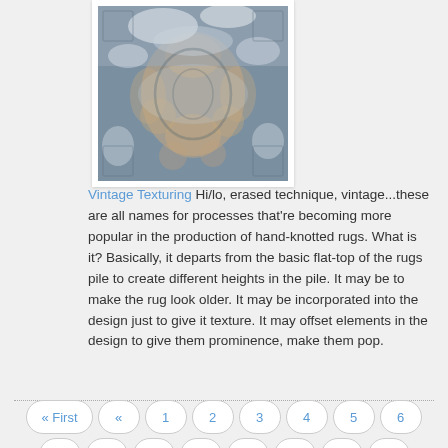[Figure (photo): A vintage-style hand-knotted rug with distressed, faded pattern in blue-gray and beige tones, shown as a cropped top portion.]
Vintage Texturing Hi/lo, erased technique, vintage...these are all names for processes that're becoming more popular in the production of hand-knotted rugs. What is it? Basically, it departs from the basic flat-top of the rugs pile to create different heights in the pile. It may be to make the rug look older. It may be incorporated into the design just to give it texture. It may offset elements in the design to give them prominence, make them pop.
« First « 1 2 3 4 5 6 7 8 9 10 11 12 13 14 » Last »